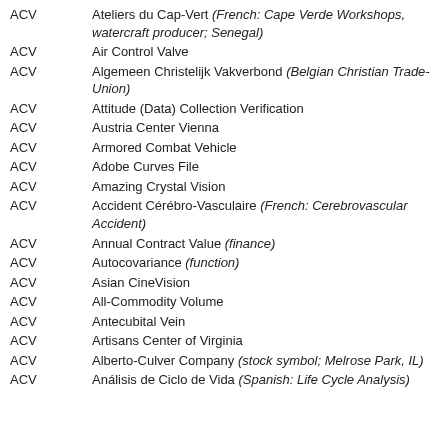ACV — Ateliers du Cap-Vert (French: Cape Verde Workshops, watercraft producer; Senegal)
ACV — Air Control Valve
ACV — Algemeen Christelijk Vakverbond (Belgian Christian Trade-Union)
ACV — Attitude (Data) Collection Verification
ACV — Austria Center Vienna
ACV — Armored Combat Vehicle
ACV — Adobe Curves File
ACV — Amazing Crystal Vision
ACV — Accident Cérébro-Vasculaire (French: Cerebrovascular Accident)
ACV — Annual Contract Value (finance)
ACV — Autocovariance (function)
ACV — Asian CineVision
ACV — All-Commodity Volume
ACV — Antecubital Vein
ACV — Artisans Center of Virginia
ACV — Alberto-Culver Company (stock symbol; Melrose Park, IL)
ACV — Análisis de Ciclo de Vida (Spanish: Life Cycle Analysis)